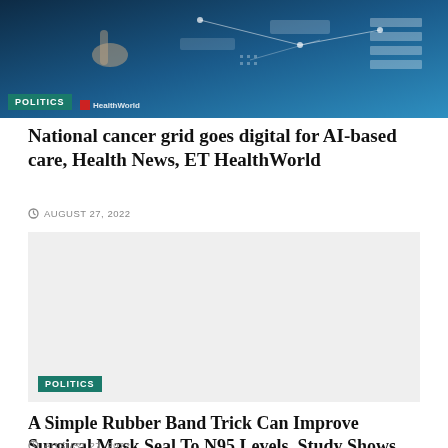[Figure (photo): Technology/AI themed image with blue digital background showing hand pointing at data visualization interface]
National cancer grid goes digital for AI-based care, Health News, ET HealthWorld
AUGUST 27, 2022
[Figure (photo): Light gray placeholder image with POLITICS badge in teal at bottom left]
A Simple Rubber Band Trick Can Improve Surgical Mask Seal To N95 Levels, Study Shows
AUGUST 27, 2022